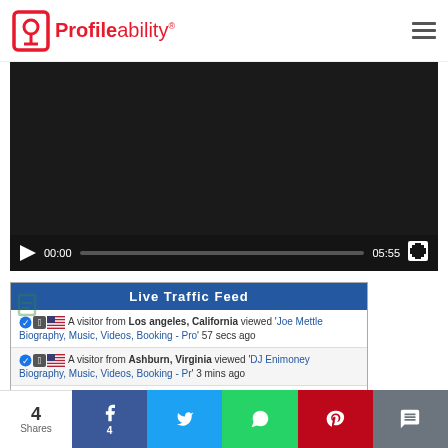[Figure (logo): Profileability logo with red icon and red text]
[Figure (screenshot): Video player with black background showing 00:00 / 05:55 timestamp and play button]
Live Traffic Feed
A visitor from Los angeles, California viewed 'Joe Mettle Biography, Music, Videos, Booking - Pro' 57 secs ago
A visitor from Ashburn, Virginia viewed 'DJ Enimoney Biography, Music, Videos, Booking - Pr' 3 mins ago
A visitor from Eltham, England viewed 'Rimon Biography, Music, Videos, Booking - ProfileA' 5 mins ago
4 Shares